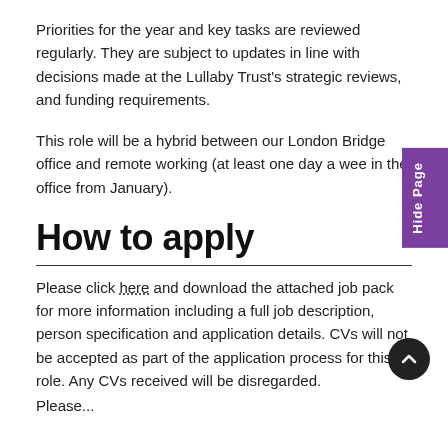Priorities for the year and key tasks are reviewed regularly. They are subject to updates in line with decisions made at the Lullaby Trust's strategic reviews, and funding requirements.
This role will be a hybrid between our London Bridge office and remote working (at least one day a week in the office from January).
How to apply
Please click here and download the attached job pack for more information including a full job description, person specification and application details. CVs will not be accepted as part of the application process for this role. Any CVs received will be disregarded.
Please...